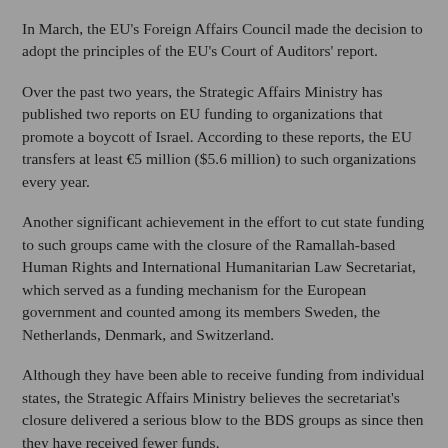In March, the EU's Foreign Affairs Council made the decision to adopt the principles of the EU's Court of Auditors' report.
Over the past two years, the Strategic Affairs Ministry has published two reports on EU funding to organizations that promote a boycott of Israel. According to these reports, the EU transfers at least €5 million ($5.6 million) to such organizations every year.
Another significant achievement in the effort to cut state funding to such groups came with the closure of the Ramallah-based Human Rights and International Humanitarian Law Secretariat, which served as a funding mechanism for the European government and counted among its members Sweden, the Netherlands, Denmark, and Switzerland.
Although they have been able to receive funding from individual states, the Strategic Affairs Ministry believes the secretariat's closure delivered a serious blow to the BDS groups as since then they have received fewer funds.
Some 350 participants from 30 countries are set to arrive in Israel